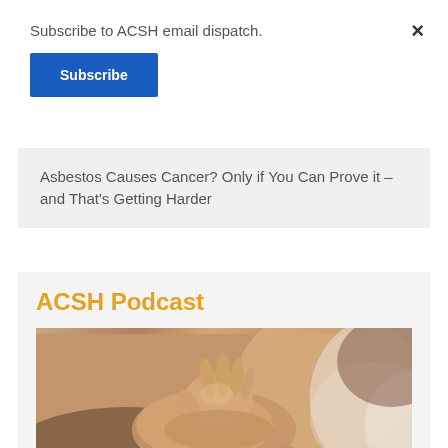Subscribe to ACSH email dispatch.
Subscribe
×
Asbestos Causes Cancer? Only if You Can Prove it – and That's Getting Harder
ACSH Podcast
[Figure (photo): Close-up photograph of a baby's hand resting on an adult's hand/chest area, warm tones.]